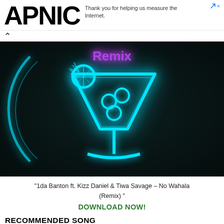APNIC
Thank you for helping us measure the Internet.
[Figure (photo): Neon sign of a cocktail glass (martini glass with bubbles inside) glowing in cyan/teal against a dark background. The word 'Remix' appears at the top in purple/pink neon. A partial circular neon arc is visible on the left.]
"1da Banton ft. Kizz Daniel & Tiwa Savage – No Wahala (Remix) "
DOWNLOAD NOW!
RECOMMENDED SONG